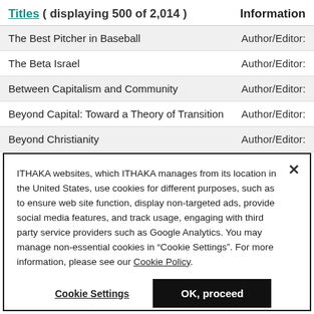| Titles ( displaying 500 of 2,014 ) | Information |
| --- | --- |
| The Best Pitcher in Baseball | Author/Editor: |
| The Beta Israel | Author/Editor: |
| Between Capitalism and Community | Author/Editor: |
| Beyond Capital: Toward a Theory of Transition | Author/Editor: |
| Beyond Christianity | Author/Editor: |
ITHAKA websites, which ITHAKA manages from its location in the United States, use cookies for different purposes, such as to ensure web site function, display non-targeted ads, provide social media features, and track usage, engaging with third party service providers such as Google Analytics. You may manage non-essential cookies in “Cookie Settings”. For more information, please see our Cookie Policy.
Cookie Settings
OK, proceed